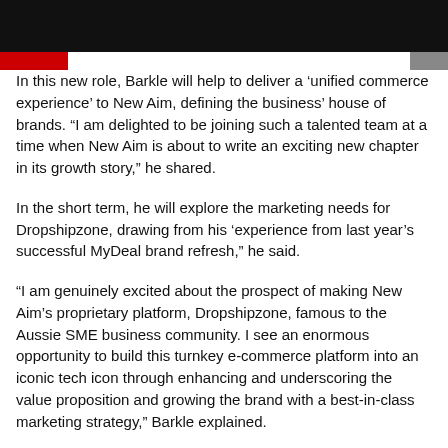In this new role, Barkle will help to deliver a ‘unified commerce experience’ to New Aim, defining the business’ house of brands. “I am delighted to be joining such a talented team at a time when New Aim is about to write an exciting new chapter in its growth story,” he shared.
In the short term, he will explore the marketing needs for Dropshipzone, drawing from his ‘experience from last year’s successful MyDeal brand refresh,” he said.
“I am genuinely excited about the prospect of making New Aim’s proprietary platform, Dropshipzone, famous to the Aussie SME business community. I see an enormous opportunity to build this turnkey e-commerce platform into an iconic tech icon through enhancing and underscoring the value proposition and growing the brand with a best-in-class marketing strategy,” Barkle explained.
Cecilia Chu, the Co-Founder and Chief Strategy Officer of New Aim